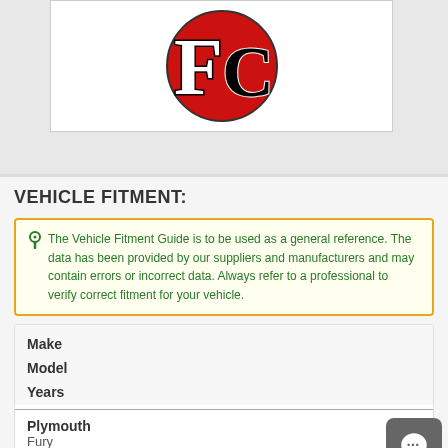[Figure (logo): Red circular logo with stylized 'FC' letters in black and white on red background]
VEHICLE FITMENT:
The Vehicle Fitment Guide is to be used as a general reference. The data has been provided by our suppliers and manufacturers and may contain errors or incorrect data. Always refer to a professional to verify correct fitment for your vehicle.
| Make | Model | Years |
| --- | --- | --- |
| Plymouth | Fury | 1962 - 1964 |